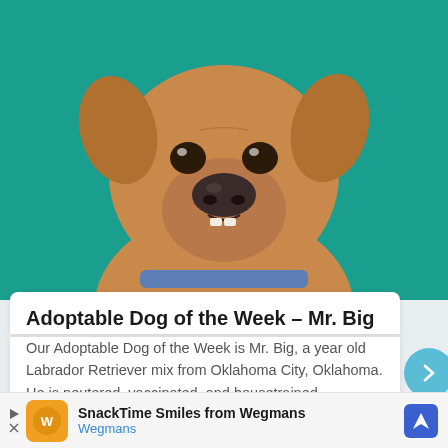[Figure (photo): Close-up photo of a brown/tan dog with a slight underbite showing bottom teeth, against a teal/green background. The dog is wearing a blue collar.]
Adoptable Dog of the Week – Mr. Big
Our Adoptable Dog of the Week is Mr. Big, a year old Labrador Retriever mix from Oklahoma City, Oklahoma. He is neutered, vaccinated, and housetrained.
[Figure (photo): Partial photo of an outdoor scene with trees and a building in the background.]
SnackTime Smiles from Wegmans
Wegmans